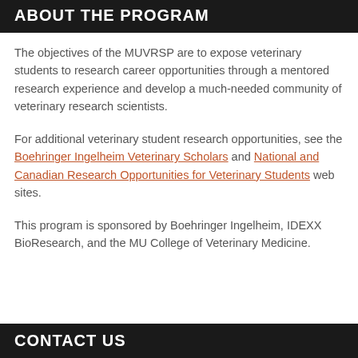ABOUT THE PROGRAM
The objectives of the MUVRSP are to expose veterinary students to research career opportunities through a mentored research experience and develop a much-needed community of veterinary research scientists.
For additional veterinary student research opportunities, see the Boehringer Ingelheim Veterinary Scholars and National and Canadian Research Opportunities for Veterinary Students web sites.
This program is sponsored by Boehringer Ingelheim, IDEXX BioResearch, and the MU College of Veterinary Medicine.
CONTACT US